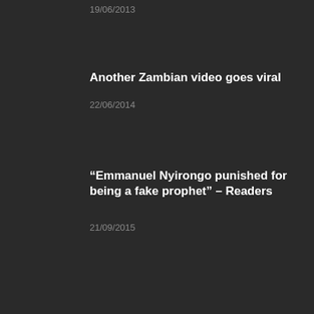19/06/2013
Another Zambian video goes viral
22/06/2014
“Emmanuel Nyirongo punished for being a fake prophet” – Readers
21/09/2015